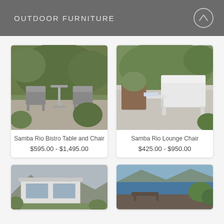OUTDOOR FURNITURE
[Figure (photo): Samba Rio Bistro Table and Chair outdoor furniture set on a patio surrounded by greenery]
Samba Rio Bistro Table and Chair
$595.00 - $1,495.00
[Figure (photo): Samba Rio Lounge Chair in white on a modern patio]
Samba Rio Lounge Chair
$425.00 - $950.00
[Figure (photo): Partial view of outdoor furniture product - modern house exterior]
[Figure (photo): Partial view of outdoor furniture product - deck/water scene]